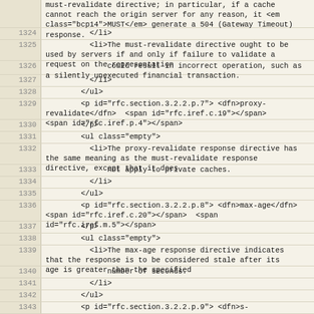Source code viewer showing lines 1324-1343 of an RFC/HTTP specification document in HTML format, covering must-revalidate, proxy-revalidate, and max-age directives.